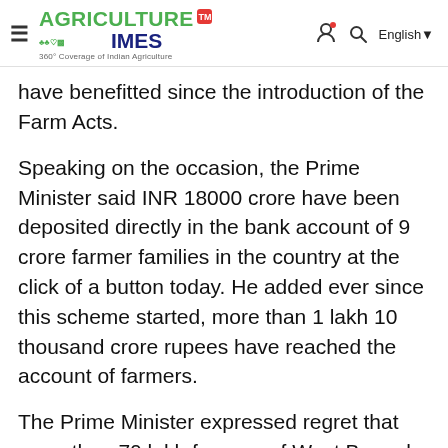Agriculture Times — 360° Coverage of Indian Agriculture
have benefitted since the introduction of the Farm Acts.
Speaking on the occasion, the Prime Minister said INR 18000 crore have been deposited directly in the bank account of 9 crore farmer families in the country at the click of a button today. He added ever since this scheme started, more than 1 lakh 10 thousand crore rupees have reached the account of farmers.
The Prime Minister expressed regret that more than 70 lakh farmers of West Bengal